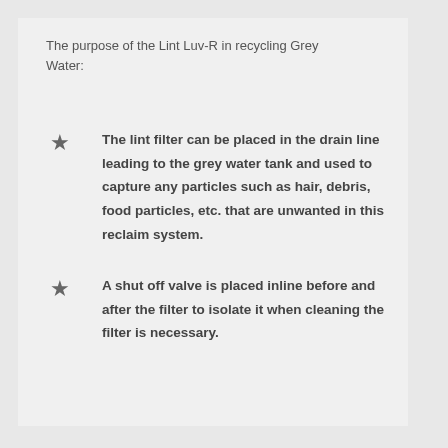The purpose of the Lint Luv-R in recycling Grey Water:
The lint filter can be placed in the drain line leading to the grey water tank and used to capture any particles such as hair, debris, food particles, etc. that are unwanted in this reclaim system.
A shut off valve is placed inline before and after the filter to isolate it when cleaning the filter is necessary.